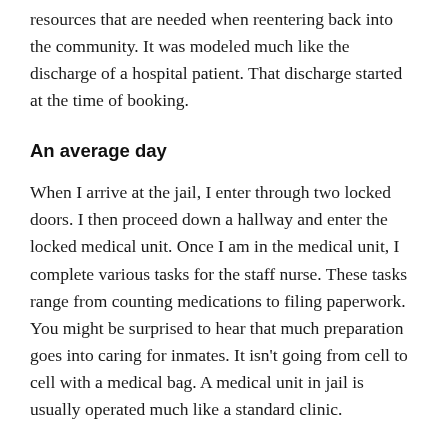resources that are needed when reentering back into the community. It was modeled much like the discharge of a hospital patient. That discharge started at the time of booking.
An average day
When I arrive at the jail, I enter through two locked doors. I then proceed down a hallway and enter the locked medical unit. Once I am in the medical unit, I complete various tasks for the staff nurse. These tasks range from counting medications to filing paperwork. You might be surprised to hear that much preparation goes into caring for inmates. It isn't going from cell to cell with a medical bag. A medical unit in jail is usually operated much like a standard clinic.
Inmates often come into jail at their sickest. They don't usually seek medical treatment; the jail is their only stable healthcare. You need expansive knowledge of infectious